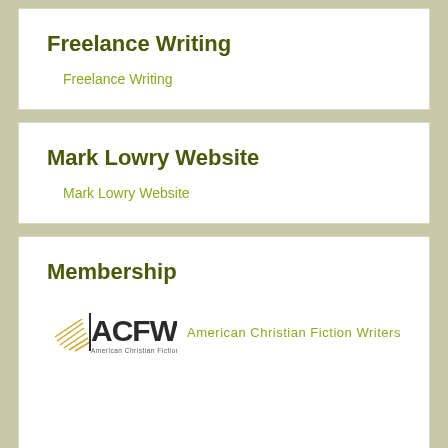Freelance Writing
Freelance Writing
Mark Lowry Website
Mark Lowry Website
Membership
[Figure (logo): ACFW - American Christian Fiction Writers logo with book and wing motif]
American Christian Fiction Writers